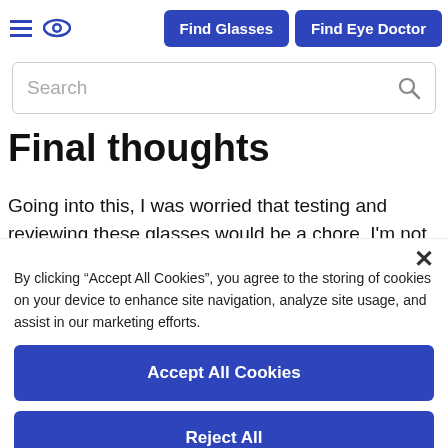Find Glasses | Find Eye Doctor
Search
Final thoughts
Going into this, I was worried that testing and reviewing these glasses would be a chore. I'm not the most tech-savvy gal.
By clicking “Accept All Cookies”, you agree to the storing of cookies on your device to enhance site navigation, analyze site usage, and assist in our marketing efforts.
Accept All Cookies
Reject All
Cookies Settings